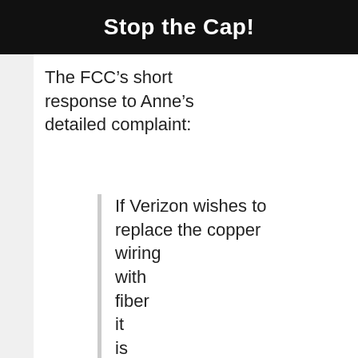Stop the Cap!
The FCC’s short response to Anne’s detailed complaint:
If Verizon wishes to replace the copper wiring with fiber it is strictly their business decision...